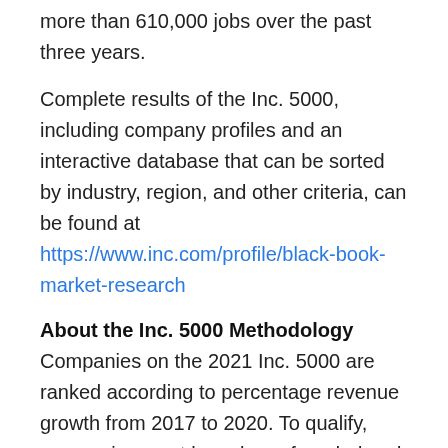more than 610,000 jobs over the past three years.
Complete results of the Inc. 5000, including company profiles and an interactive database that can be sorted by industry, region, and other criteria, can be found at https://www.inc.com/profile/black-book-market-research
About the Inc. 5000 Methodology
Companies on the 2021 Inc. 5000 are ranked according to percentage revenue growth from 2017 to 2020. To qualify, companies must have been founded and generating revenue by March 31, 2017. They must be U.S.-based, privately held, for-profit, and independent—not subsidiaries or